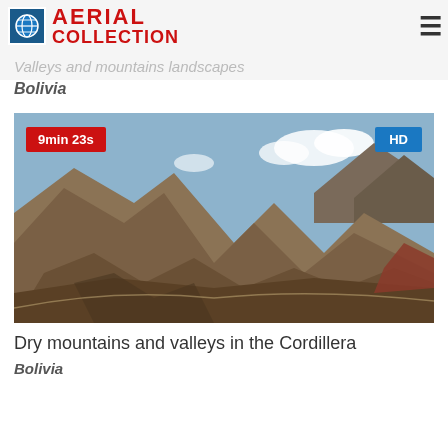AERIAL COLLECTION
Valleys and mountains landscapes
Bolivia
[Figure (photo): Aerial photo of dry mountains and valleys in the Cordillera, Bolivia. Shows rugged brown rocky terrain with blue sky. Badge: '9min 23s' in red top-left, 'HD' in blue top-right.]
Dry mountains and valleys in the Cordillera
Bolivia